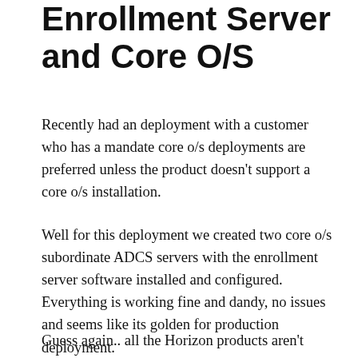Enrollment Server and Core O/S
Recently had an deployment with a customer who has a mandate core o/s deployments are preferred unless the product doesn't support a core o/s installation.
Well for this deployment we created two core o/s subordinate ADCS servers with the enrollment server software installed and configured. Everything is working fine and dandy, no issues and seems like its golden for production deployment.
Guess again.. all the Horizon products aren't